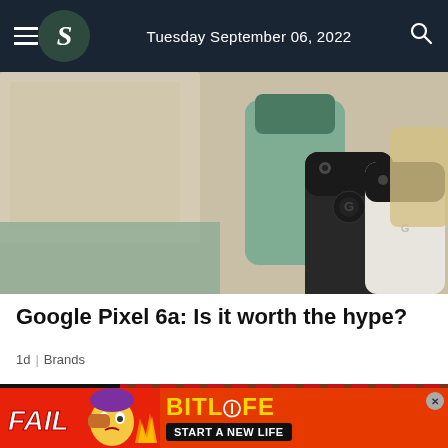Tuesday September 06, 2022
[Figure (photo): Overhead view of three Google Pixel 6a smartphones in different colors (charcoal, sage/green, chalk/white) arranged on a beige/cream fabric surface with accessories]
Google Pixel 6a: Is it worth the hype?
1d | Brands
[Figure (photo): Partial image of a person wearing red and green plaid/tartan clothing, with a scroll-down button overlay]
[Figure (other): BitLife advertisement banner: FAIL text with animated character and fire, BitLife logo, START A NEW LIFE text, close button]